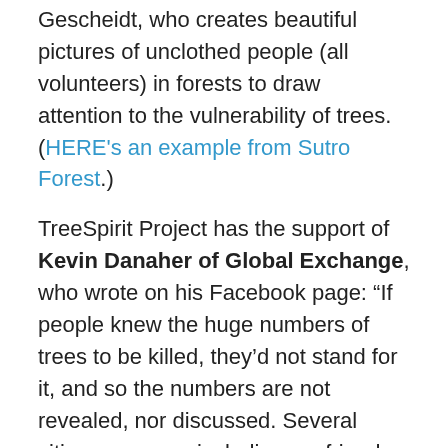Gescheidt, who creates beautiful pictures of unclothed people (all volunteers) in forests to draw attention to the vulnerability of trees. (HERE's an example from Sutro Forest.)
TreeSpirit Project has the support of Kevin Danaher of Global Exchange, who wrote on his Facebook page: “If people knew the huge numbers of trees to be killed, they’d not stand for it, and so the numbers are not revealed, nor discussed. Several citizens groups, including my friend Jack Gescheidt’s TreeSpirit Project, have uncovered and now disseminate these mind-boggling numbers. We kindly urge you to, also!”
WHAT YOU CAN DO
There isn't much time to save these trees; felling is planned to start this fall. It's a disaster in the making, and